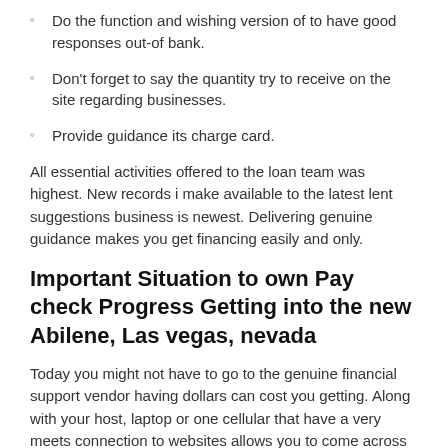Do the function and wishing version of to have good responses out-of bank.
Don't forget to say the quantity try to receive on the site regarding businesses.
Provide guidance its charge card.
All essential activities offered to the loan team was highest. New records i make available to the latest lent suggestions business is newest. Delivering genuine guidance makes you get financing easily and only.
Important Situation to own Pay check Progress Getting into the new Abilene, Las vegas, nevada
Today you might not have to go to the genuine financial support vendor having dollars can cost you getting. Along with your host, laptop or one cellular that have a very meets connection to websites allows you to come across payday cash swiftly. Every is essential is always to discover an effective credit online businesses, complete the profile, and sustain right back up.